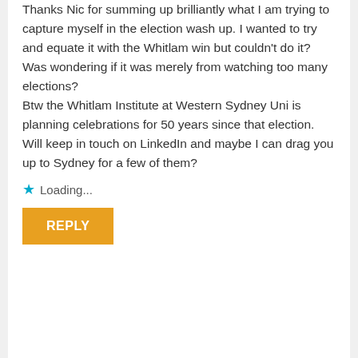Thanks Nic for summing up brilliantly what I am trying to capture myself in the election wash up. I wanted to try and equate it with the Whitlam win but couldn't do it? Was wondering if it was merely from watching too many elections?
Btw the Whitlam Institute at Western Sydney Uni is planning celebrations for 50 years since that election. Will keep in touch on LinkedIn and maybe I can drag you up to Sydney for a few of them?
Loading...
REPLY